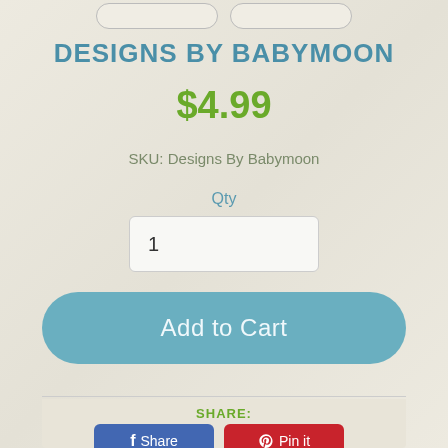DESIGNS BY BABYMOON
$4.99
SKU: Designs By Babymoon
Qty
1
Add to Cart
SHARE:
Share
Pin it